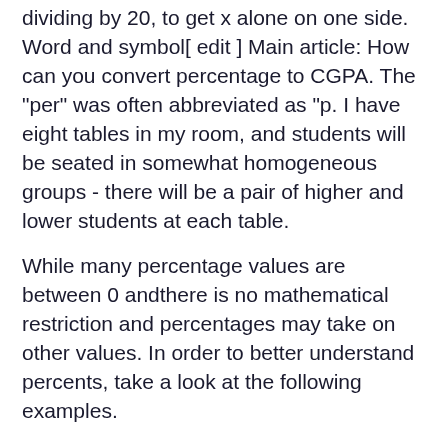dividing by 20, to get x alone on one side. Word and symbol[ edit ] Main article: How can you convert percentage to CGPA. The "per" was often abbreviated as "p. I have eight tables in my room, and students will be seated in somewhat homogeneous groups - there will be a pair of higher and lower students at each table.
While many percentage values are between 0 andthere is no mathematical restriction and percentages may take on other values. In order to better understand percents, take a look at the following examples.
Despite the fact that you cannot enter a ratio of 4/5 into this calculator, it accepts values such asfor example, 4/3 should be written as Moreover, our ratio calculator is also able to write down the list of equivalent ratios and process decimal